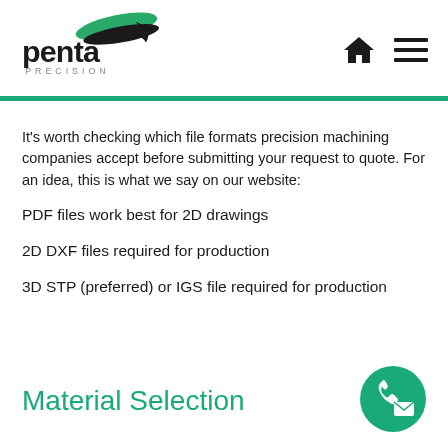[Figure (logo): Penta Precision logo with green swoosh and dark text]
It's worth checking which file formats precision machining companies accept before submitting your request to quote. For an idea, this is what we say on our website:
PDF files work best for 2D drawings
2D DXF files required for production
3D STP (preferred) or IGS file required for production
Material Selection